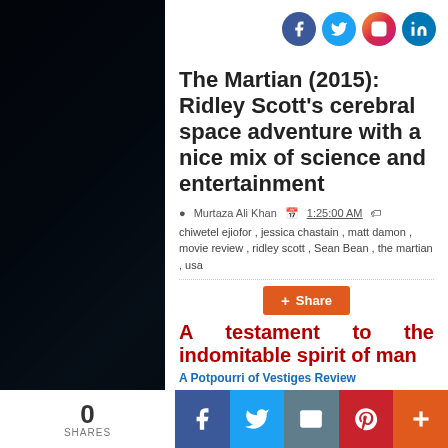[Figure (illustration): Dark space/Mars surface background with astronaut figure on right side]
[Figure (logo): Social media icons: Facebook, Twitter, Instagram, LinkedIn in top right]
The Martian (2015): Ridley Scott's cerebral space adventure with a nice mix of science and entertainment
Murtaza Ali Khan   1:25:00 AM
chiwetel ejiofor , jessica chastain , matt damon , movie review , ridley scott , Sean Bean , the martian , usa
+ Share
A testament to the indomitable spirit of man
A Potpourri of Vestiges Review
0 SHARES